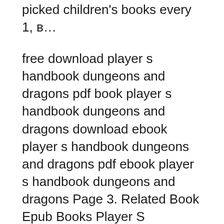picked children's books every 1, в…
free download player s handbook dungeons and dragons pdf book player s handbook dungeons and dragons download ebook player s handbook dungeons and dragons pdf ebook player s handbook dungeons and dragons Page 3. Related Book Epub Books Player S Handbook Dungeons And Dragons : - Mystery Of The Secret Room Choose Your Own Adventure No 63 - Alice S Adventures In Wonderland Book в… free download player s handbook dungeons and dragons pdf book player s handbook dungeons and dragons download ebook player s handbook dungeons and dragons pdf ebook player s handbook dungeons and dragons